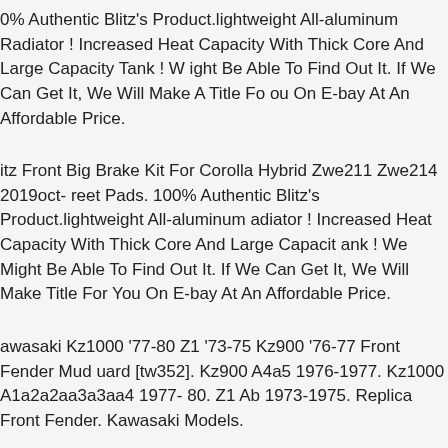0% Authentic Blitz's Product.lightweight All-aluminum Radiator ! Increased Heat Capacity With Thick Core And Large Capacity Tank ! We Might Be Able To Find Out It. If We Can Get It, We Will Make A Title For You On E-bay At An Affordable Price.
Blitz Front Big Brake Kit For Corolla Hybrid Zwe211 Zwe214 2019oct- Street Pads. 100% Authentic Blitz's Product.lightweight All-aluminum Radiator ! Increased Heat Capacity With Thick Core And Large Capacity Tank ! We Might Be Able To Find Out It. If We Can Get It, We Will Make A Title For You On E-bay At An Affordable Price.
Kawasaki Kz1000 '77-80 Z1 '73-75 Kz900 '76-77 Front Fender Mud Guard [tw352]. Kz900 A4a5 1976-1977. Kz1000 A1a2a2aa3a3aa4 1977-80. Z1 Ab 1973-1975. Replica Front Fender. Kawasaki Models.
tc Illusion Black 21/18 Front Rear Wheel Package Set Tires Rotors Harley Flh/t